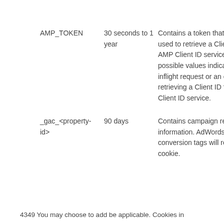| Cookie | Duration | Description |
| --- | --- | --- |
| AMP_TOKEN | 30 seconds to 1 year | Contains a token that can be used to retrieve a Client ID from AMP Client ID service. Other possible values indicate opt-out, inflight request or an error retrieving a Client ID from AMP Client ID service. |
| _gac_<property-id> | 90 days | Contains campaign related information. AdWords website conversion tags will read this cookie. |
4349 You may choose to add be applicable. Cookies in